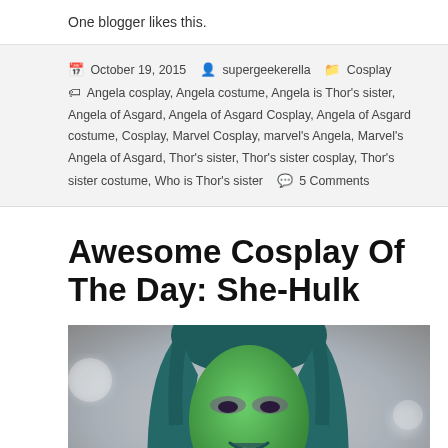One blogger likes this.
October 19, 2015  supergeekerella  Cosplay  Angela cosplay, Angela costume, Angela is Thor's sister, Angela of Asgard, Angela of Asgard Cosplay, Angela of Asgard costume, Cosplay, Marvel Cosplay, marvel's Angela, Marvel's Angela of Asgard, Thor's sister, Thor's sister cosplay, Thor's sister costume, Who is Thor's sister  5 Comments
Awesome Cosplay Of The Day: She-Hulk
[Figure (photo): Photo of a She-Hulk cosplayer with green face makeup and teal/dark blue-green hair, smiling, with a blurred background]